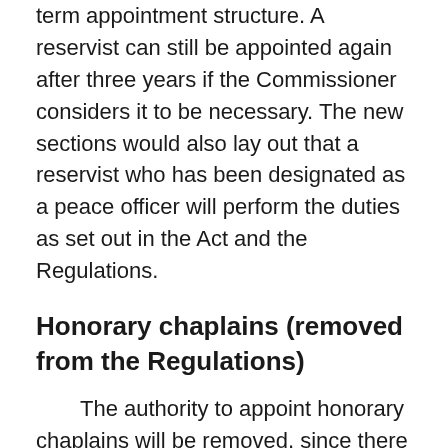term appointment structure. A reservist can still be appointed again after three years if the Commissioner considers it to be necessary. The new sections would also lay out that a reservist who has been designated as a peace officer will perform the duties as set out in the Act and the Regulations.
Honorary chaplains (removed from the Regulations)
The authority to appoint honorary chaplains will be removed, since there is no longer a requirement to appoint honorary